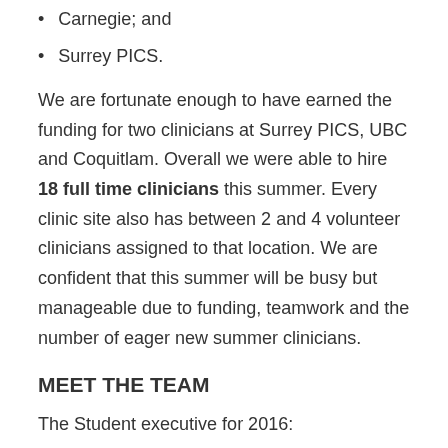Carnegie; and
Surrey PICS.
We are fortunate enough to have earned the funding for two clinicians at Surrey PICS, UBC and Coquitlam. Overall we were able to hire 18 full time clinicians this summer. Every clinic site also has between 2 and 4 volunteer clinicians assigned to that location. We are confident that this summer will be busy but manageable due to funding, teamwork and the number of eager new summer clinicians.
MEET THE TEAM
The Student executive for 2016:
Executive Director – Emma Wilson